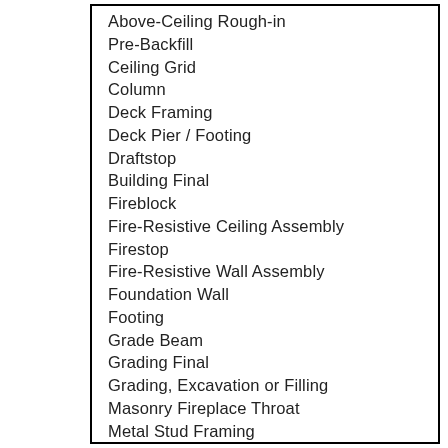Above-Ceiling Rough-in
Pre-Backfill
Ceiling Grid
Column
Deck Framing
Deck Pier / Footing
Draftstop
Building Final
Fireblock
Fire-Resistive Ceiling Assembly
Firestop
Fire-Resistive Wall Assembly
Foundation Wall
Footing
Grade Beam
Grading Final
Grading, Excavation or Filling
Masonry Fireplace Throat
Metal Stud Framing
Other Building Inspection